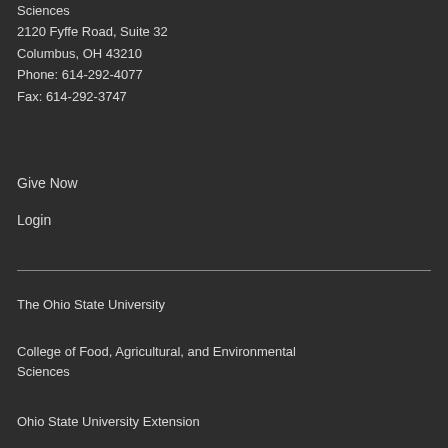Sciences
2120 Fyffe Road, Suite 32
Columbus, OH 43210
Phone: 614-292-4077
Fax: 614-292-3747
Give Now
Login
The Ohio State University
College of Food, Agricultural, and Environmental Sciences
Ohio State University Extension